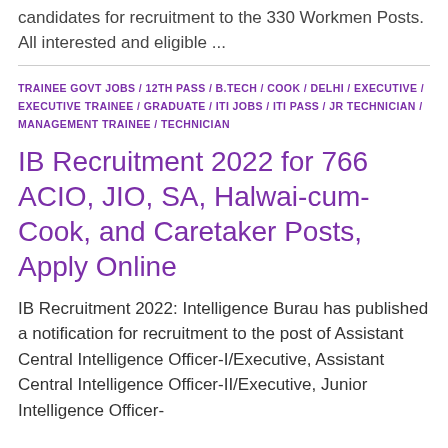candidates for recruitment to the 330 Workmen Posts. All interested and eligible ...
TRAINEE GOVT JOBS / 12TH PASS / B.TECH / COOK / DELHI / EXECUTIVE / EXECUTIVE TRAINEE / GRADUATE / ITI JOBS / ITI PASS / JR TECHNICIAN / MANAGEMENT TRAINEE / TECHNICIAN
IB Recruitment 2022 for 766 ACIO, JIO, SA, Halwai-cum-Cook, and Caretaker Posts, Apply Online
IB Recruitment 2022: Intelligence Burau has published a notification for recruitment to the post of Assistant Central Intelligence Officer-I/Executive, Assistant Central Intelligence Officer-II/Executive, Junior Intelligence Officer-